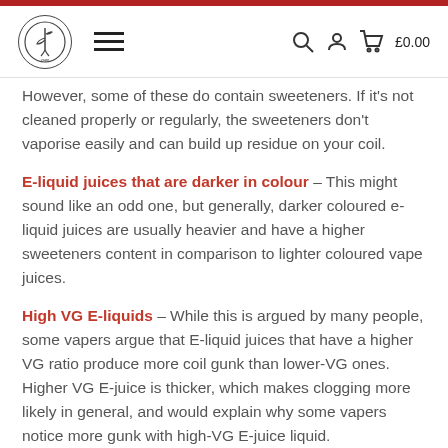Navigation header with logo, hamburger menu, search, account, and cart (£0.00)
However, some of these do contain sweeteners. If it's not cleaned properly or regularly, the sweeteners don't vaporise easily and can build up residue on your coil.
E-liquid juices that are darker in colour – This might sound like an odd one, but generally, darker coloured e-liquid juices are usually heavier and have a higher sweeteners content in comparison to lighter coloured vape juices.
High VG E-liquids – While this is argued by many people, some vapers argue that E-liquid juices that have a higher VG ratio produce more coil gunk than lower-VG ones. Higher VG E-juice is thicker, which makes clogging more likely in general, and would explain why some vapers notice more gunk with high-VG E-juice liquid.